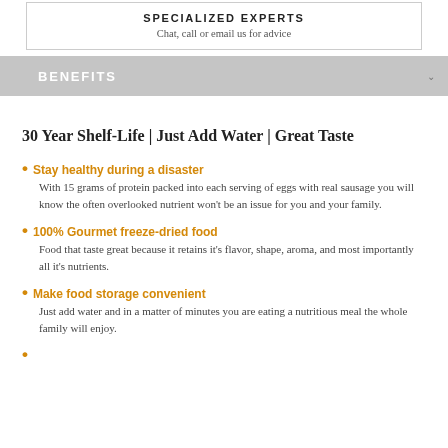SPECIALIZED EXPERTS
Chat, call or email us for advice
BENEFITS
30 Year Shelf-Life | Just Add Water | Great Taste
Stay healthy during a disaster
With 15 grams of protein packed into each serving of eggs with real sausage you will know the often overlooked nutrient won't be an issue for you and your family.
100% Gourmet freeze-dried food
Food that taste great because it retains it's flavor, shape, aroma, and most importantly all it's nutrients.
Make food storage convenient
Just add water and in a matter of minutes you are eating a nutritious meal the whole family will enjoy.